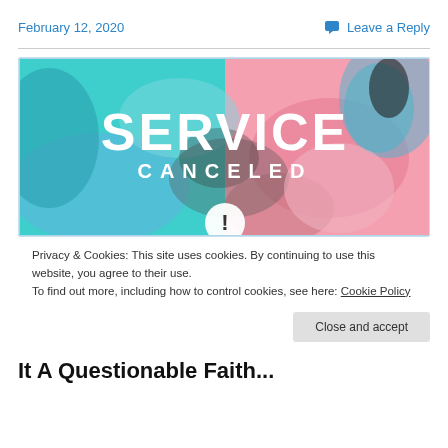February 12, 2020
Leave a Reply
[Figure (photo): Colorful marbled art image with bold white text reading 'SERVICE CANCELED' and a partially visible exclamation mark icon below, on a teal and pink background.]
Privacy & Cookies: This site uses cookies. By continuing to use this website, you agree to their use.
To find out more, including how to control cookies, see here: Cookie Policy
Close and accept
It A Questionable Faith...